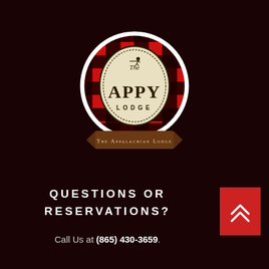[Figure (logo): The Appy Lodge circular logo with red and black buffalo plaid background, cream inner oval with 'The APPY LODGE' text and a bear/hiking figure. Below the circle is a brown ribbon banner reading 'THE APPALACHIAN LODGE'.]
QUESTIONS OR RESERVATIONS?
Call Us at (865) 430-3659.
[Figure (other): Red square button with white double chevron/caret up arrow icon.]